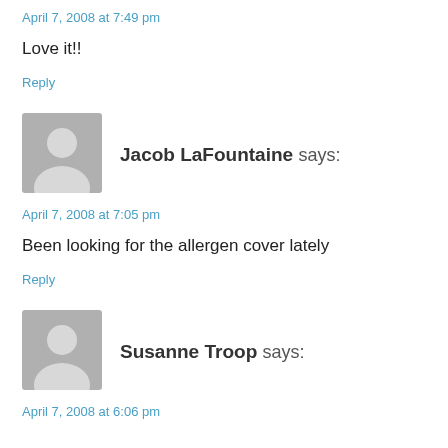April 7, 2008 at 7:49 pm
Love it!!
Reply
[Figure (illustration): Generic grey avatar silhouette for Jacob LaFountaine]
Jacob LaFountaine says:
April 7, 2008 at 7:05 pm
Been looking for the allergen cover lately
Reply
[Figure (illustration): Generic grey avatar silhouette for Susanne Troop]
Susanne Troop says:
April 7, 2008 at 6:06 pm